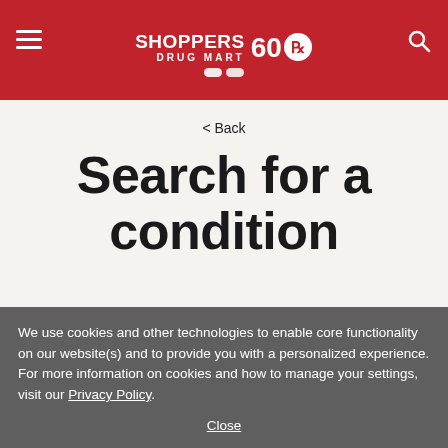Shoppers Drug Mart 60th anniversary logo header with hamburger menu and search icon
< Back
Search for a condition
Enter symptom or condition
We use cookies and other technologies to enable core functionality on our website(s) and to provide you with a personalized experience. For more information on cookies and how to manage your settings, visit our Privacy Policy. Close